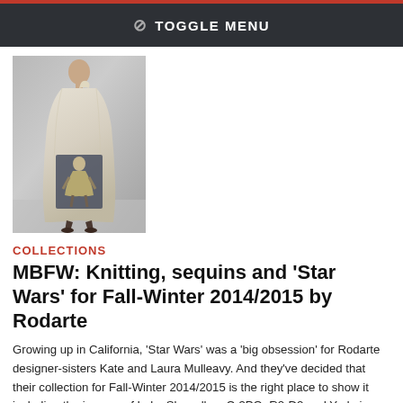⊘ TOGGLE MENU
[Figure (photo): Fashion model on runway wearing a long light-colored draped gown, with a Star Wars character image (Luke Skywalker or similar) depicted on the lower portion of the dress, shown from torso to feet.]
COLLECTIONS
MBFW: Knitting, sequins and 'Star Wars' for Fall-Winter 2014/2015 by Rodarte
Growing up in California, 'Star Wars' was a 'big obsession' for Rodarte designer-sisters Kate and Laura Mulleavy. And they've decided that their collection for Fall-Winter 2014/2015 is the right place to show it including the images of Luke Skywalker, C-3PO, R2-D2 and Yoda in a few of their garments, shown on February 11, 2014 in New York, during the Mercedes-Benz Fashion Week.